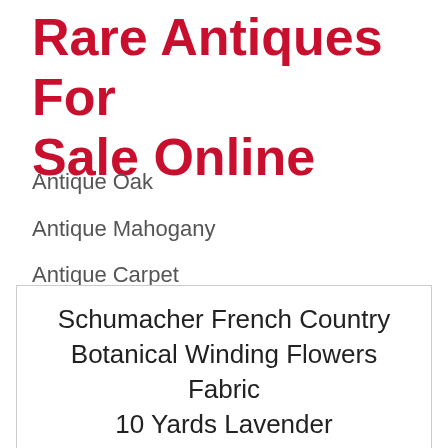Rare Antiques For Sale Online
Antique Oak
Antique Mahogany
Antique Carpet
Antique Painting
Antique Glass
Antique Plate
Schumacher French Country Botanical Winding Flowers Fabric 10 Yards Lavender